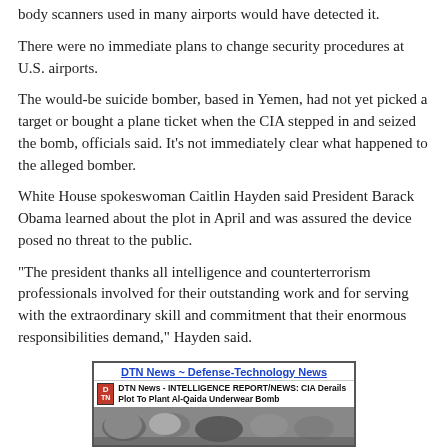body scanners used in many airports would have detected it.
There were no immediate plans to change security procedures at U.S. airports.
The would-be suicide bomber, based in Yemen, had not yet picked a target or bought a plane ticket when the CIA stepped in and seized the bomb, officials said. It's not immediately clear what happened to the alleged bomber.
White House spokeswoman Caitlin Hayden said President Barack Obama learned about the plot in April and was assured the device posed no threat to the public.
"The president thanks all intelligence and counterterrorism professionals involved for their outstanding work and for serving with the extraordinary skill and commitment that their enormous responsibilities demand," Hayden said.
[Figure (screenshot): DTN News - Defense-Technology News banner with logo, headline about CIA Derailing Plot to Plant Al-Qaida Underwear Bomb, and a news article photo strip at the bottom.]